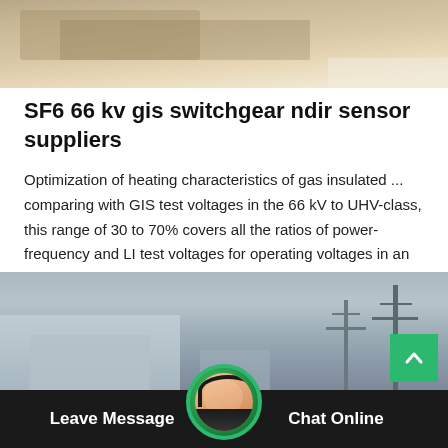[Figure (photo): Top image showing a vehicle or truck partially visible, sandy/dusty outdoor scene]
SF6 66 kv gis switchgear ndir sensor suppliers
Optimization of heating characteristics of gas insulated ... comparing with GIS test voltages in the 66 kV to UHV-class, this range of 30 to 70% covers all the ratios of power-frequency and LI test voltages for operating voltages in an actual system.
[Figure (other): Get Price button with teal/green border]
[Figure (photo): Bottom image showing industrial buildings and electrical towers against a grey sky]
Leave Message   Chat Online